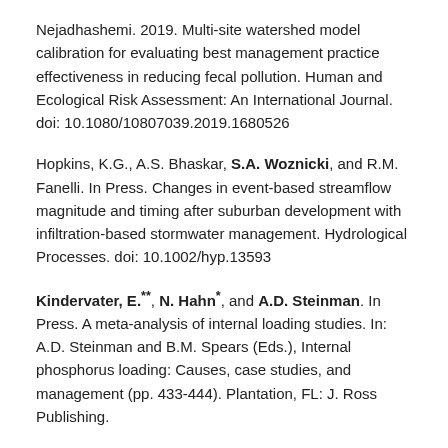Nejadhashemi. 2019. Multi-site watershed model calibration for evaluating best management practice effectiveness in reducing fecal pollution. Human and Ecological Risk Assessment: An International Journal. doi: 10.1080/10807039.2019.1680526
Hopkins, K.G., A.S. Bhaskar, S.A. Woznicki, and R.M. Fanelli. In Press. Changes in event-based streamflow magnitude and timing after suburban development with infiltration-based stormwater management. Hydrological Processes. doi: 10.1002/hyp.13593
Kindervater, E.**, N. Hahn*, and A.D. Steinman. In Press. A meta-analysis of internal loading studies. In: A.D. Steinman and B.M. Spears (Eds.), Internal phosphorus loading: Causes, case studies, and management (pp. 433-444). Plantation, FL: J. Ross Publishing.